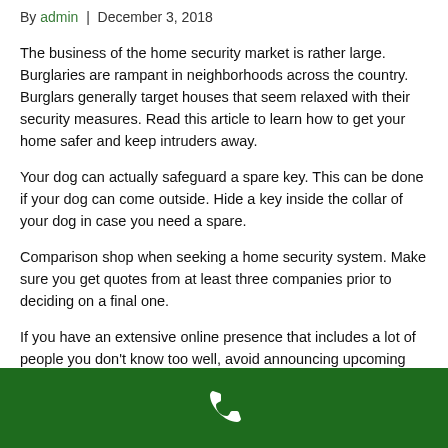By admin | December 3, 2018
The business of the home security market is rather large. Burglaries are rampant in neighborhoods across the country. Burglars generally target houses that seem relaxed with their security measures. Read this article to learn how to get your home safer and keep intruders away.
Your dog can actually safeguard a spare key. This can be done if your dog can come outside. Hide a key inside the collar of your dog in case you need a spare.
Comparison shop when seeking a home security system. Make sure you get quotes from at least three companies prior to deciding on a final one.
If you have an extensive online presence that includes a lot of people you don't know too well, avoid announcing upcoming vacations. It can be exciting to tell everyone about your vacation, but you could potentially be letting a burglar in on your whereabouts.
[Figure (other): Green footer bar with a white phone icon in the center]